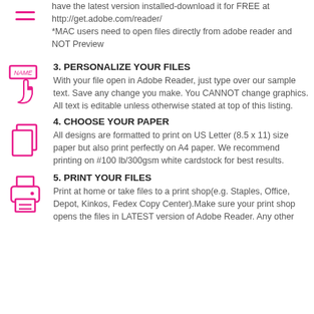have the latest version installed-download it for FREE at http://get.adobe.com/reader/ *MAC users need to open files directly from adobe reader and NOT Preview
3. PERSONALIZE YOUR FILES
With your file open in Adobe Reader, just type over our sample text. Save any change you make. You CANNOT change graphics. All text is editable unless otherwise stated at top of this listing.
4. CHOOSE YOUR PAPER
All designs are formatted to print on US Letter (8.5 x 11) size paper but also print perfectly on A4 paper. We recommend printing on #100 lb/300gsm white cardstock for best results.
5. PRINT YOUR FILES
Print at home or take files to a print shop(e.g. Staples, Office, Depot, Kinkos, Fedex Copy Center).Make sure your print shop opens the files in LATEST version of Adobe Reader. Any other